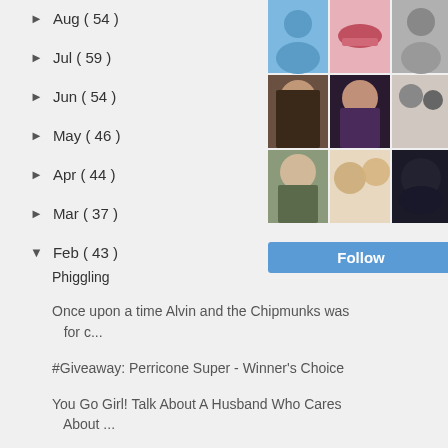► Aug ( 54 )
► Jul ( 59 )
► Jun ( 54 )
► May ( 46 )
► Apr ( 44 )
► Mar ( 37 )
▼ Feb ( 43 )
Phiggling
Once upon a time Alvin and the Chipmunks was for c...
#Giveaway: Perricone Super - Winner's Choice
You Go Girl! Talk About A Husband Who Cares About ...
I Am Not Naked - 4Ms
Maybe I'm Learning This
[Figure (photo): Grid of 9 profile/avatar photos in 3x3 layout]